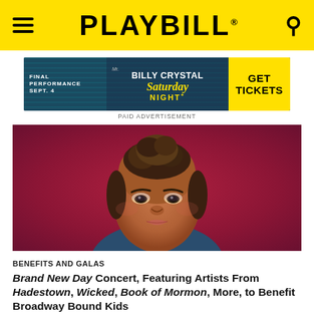PLAYBILL
[Figure (other): Advertisement banner for Billy Crystal in Mr. Saturday Night. Text: FINAL PERFORMANCE SEPT. 4 | BILLY CRYSTAL Mr. Saturday Night | GET TICKETS]
PAID ADVERTISEMENT
[Figure (photo): Headshot of a young Black woman with curly hair pulled up, against a dark red/magenta background, wearing a blue top. She has a neutral, direct expression.]
BENEFITS AND GALAS
Brand New Day Concert, Featuring Artists From Hadestown, Wicked, Book of Mormon, More, to Benefit Broadway Bound Kids